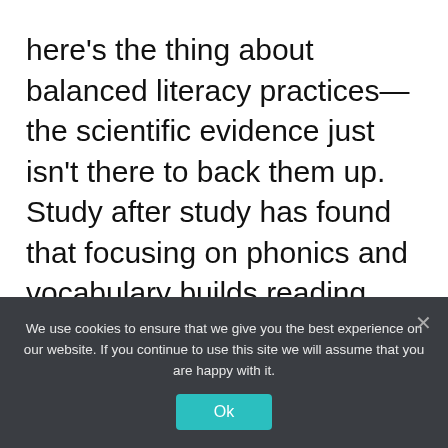here's the thing about balanced literacy practices—the scientific evidence just isn't there to back them up. Study after study has found that focusing on phonics and vocabulary builds reading comprehension much faster and more effectively than the MSV method.
Of course we want kids to love reading. But they're more likely to enjoy it when they can learn it with less of a struggle. And advocates of the science of reading approach say their structured methods are
We use cookies to ensure that we give you the best experience on our website. If you continue to use this site we will assume that you are happy with it.